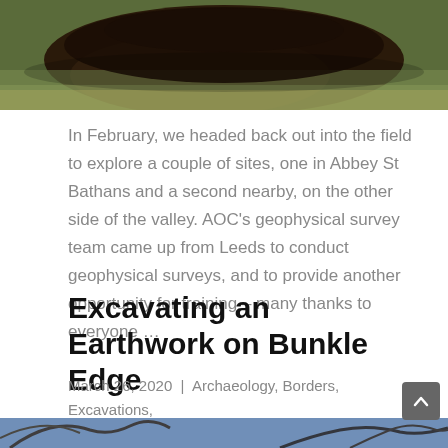[Figure (photo): Top cropped photo showing a grassy field with dark mounded earth or turf bank.]
In February, we headed back out into the field to explore a couple of sites, one in Abbey St Bathans and a second nearby, on the other side of the valley. AOC's geophysical survey team came up from Leeds to conduct geophysical surveys, and to provide another opportunity for training – many thanks to everyone …
Excavating an Earthwork on Bunkle Edge
March 26, 2020  |  Archaeology, Borders, Excavations, News, Prehistoric
[Figure (photo): Bottom partial photo showing bare tree branches against a blue sky at dusk or dawn.]